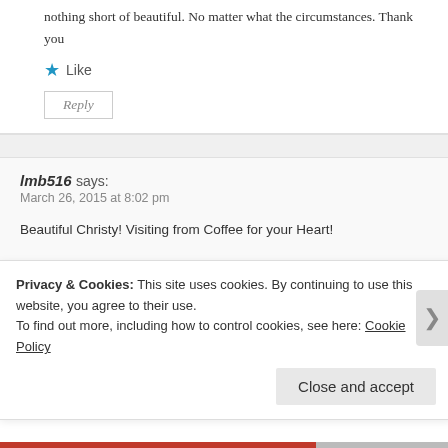nothing short of beautiful. No matter what the circumstances. Thank you
Like
Reply
lmb516 says:
March 26, 2015 at 8:02 pm
Beautiful Christy! Visiting from Coffee for your Heart!

Bless you!

Lynne
Like
Reply
Privacy & Cookies: This site uses cookies. By continuing to use this website, you agree to their use.
To find out more, including how to control cookies, see here: Cookie Policy
Close and accept